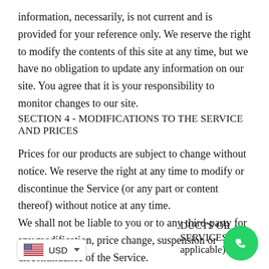information, necessarily, is not current and is provided for your reference only. We reserve the right to modify the contents of this site at any time, but we have no obligation to update any information on our site. You agree that it is your responsibility to monitor changes to our site.
SECTION 4 - MODIFICATIONS TO THE SERVICE AND PRICES
Prices for our products are subject to change without notice. We reserve the right at any time to modify or discontinue the Service (or any part or content thereof) without notice at any time.
We shall not be liable to you or to any third-party for any modification, price change, suspension or discontinuance of the Service.
S... DUCTS OR SERVICES (if applicable)